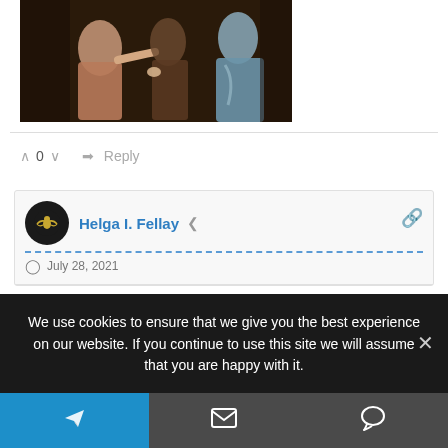[Figure (photo): Detail of a classical painting showing figures in robes — one in pinkish-tan robes and one in light blue robes, with a dark background.]
^ 0 v → Reply
Helga I. Fellay  < share  🔗
July 28, 2021
Rate this article ★ ☆ ☆ ☆ ☆
:
We use cookies to ensure that we give you the best experience on our website. If you continue to use this site we will assume that you are happy with it. ×